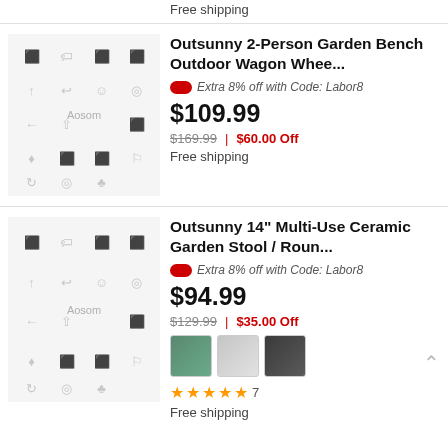Free shipping
Outsunny 2-Person Garden Bench Outdoor Wagon Whee...
Extra 8% off with Code: Labor8
$109.99
$169.99  |  $60.00 Off
Free shipping
Outsunny 14" Multi-Use Ceramic Garden Stool / Roun...
Extra 8% off with Code: Labor8
$94.99
$129.99  |  $35.00 Off
[Figure (photo): Three ceramic garden stools in teal, silver, and dark color variants]
★★★★★ 7
Free shipping